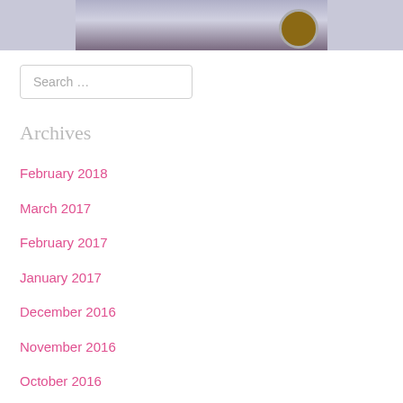[Figure (photo): Partial photo of a person's wrist/hand wearing a watch, cropped at top of page]
Search …
Archives
February 2018
March 2017
February 2017
January 2017
December 2016
November 2016
October 2016
September 2016